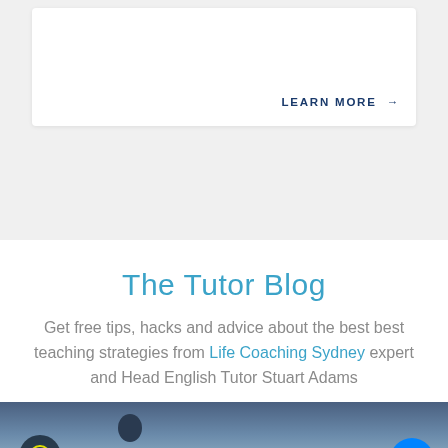LEARN MORE →
The Tutor Blog
Get free tips, hacks and advice about the best best teaching strategies from Life Coaching Sydney expert and Head English Tutor Stuart Adams
[Figure (photo): Photo of a person with a brain gear icon visible, in a classroom or studio setting]